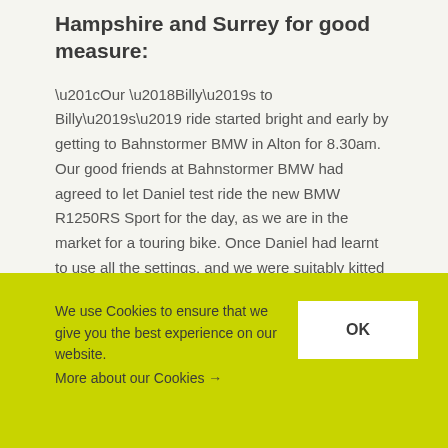Hampshire and Surrey for good measure:
“Our ‘Billy’s to Billy’s’ ride started bright and early by getting to Bahnstormer BMW in Alton for 8.30am. Our good friends at Bahnstormer BMW had agreed to let Daniel test ride the new BMW R1250RS Sport for the day, as we are in the market for a touring bike. Once Daniel had learnt to use all the settings, and we were suitably kitted up, we were on our way.
We use Cookies to ensure that we give you the best experience on our website.
More about our Cookies →
OK